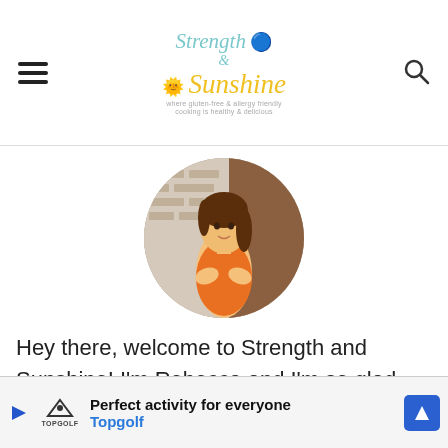Strength & Sunshine
[Figure (photo): Circular profile photo of a young woman with brown hair wearing an orange tank top, arms crossed, standing against a textured wall background.]
Hey there, welcome to Strength and Sunshine! I'm Rebecca and I'm so glad you're here! This is your go-to destination for delicious, fun, and (mostly) healthy gluten-free and allergy-free recipes, tips & tricks, advice, as well as celiac and food allergine
[Figure (screenshot): Advertisement banner for Topgolf: 'Perfect activity for everyone' with Topgolf logo and a blue navigation arrow icon.]